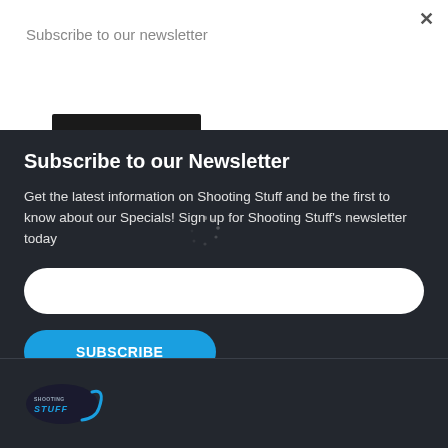Subscribe to our newsletter
Subscribe
Subscribe to our Newsletter
Get the latest information on Shooting Stuff and be the first to know about our Specials! Sign up for Shooting Stuff's newsletter today
[Figure (logo): Shooting Stuff logo - dark oval shape with blue swoosh and text STUFF]